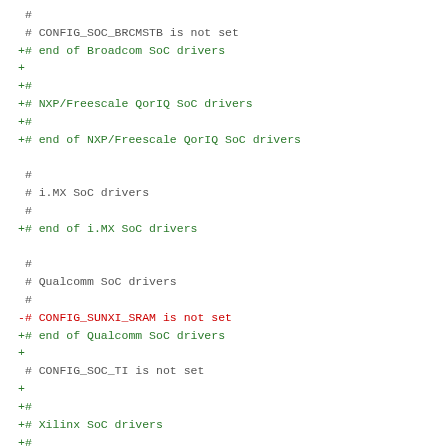Diff output of kernel configuration file showing added (green +), removed (red -), and unchanged (gray) lines for SoC driver sections.